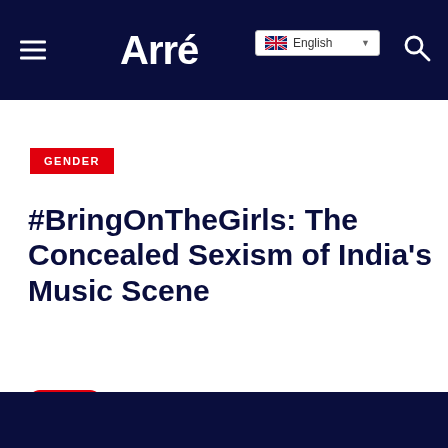Arré — English
GENDER
#BringOnTheGirls: The Concealed Sexism of India's Music Scene
Save